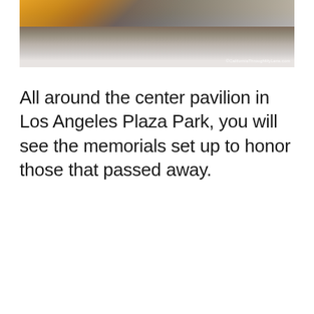[Figure (photo): Overhead view of a Day of the Dead memorial display with marigold flowers, colorful items, and a white cloth-covered table at Los Angeles Plaza Park. Watermark reads ©CaliforniaThroughMyLens.com]
All around the center pavilion in Los Angeles Plaza Park, you will see the memorials set up to honor those that passed away.